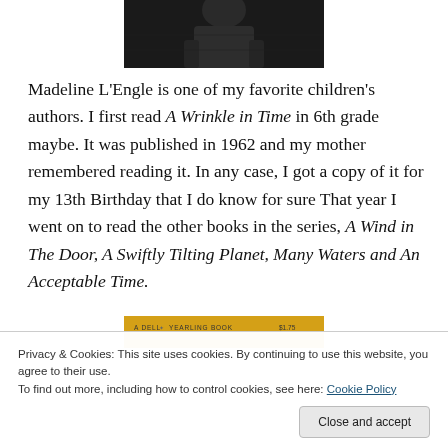[Figure (photo): Partial black and white photograph of a person, cropped at top of page]
Madeline L'Engle is one of my favorite children's authors. I first read A Wrinkle in Time in 6th grade maybe. It was published in 1962 and my mother remembered reading it. In any case, I got a copy of it for my 13th Birthday that I do know for sure That year I went on to read the other books in the series, A Wind in The Door, A Swiftly Tilting Planet, Many Waters and An Acceptable Time.
[Figure (photo): Partial image of a book cover with yellow/orange background, Dell Yearling book edition, with text 'A DELL REY YEARLING BOOK $1.75' and 'Madeleine L'Engle' at the bottom]
Privacy & Cookies: This site uses cookies. By continuing to use this website, you agree to their use.
To find out more, including how to control cookies, see here: Cookie Policy